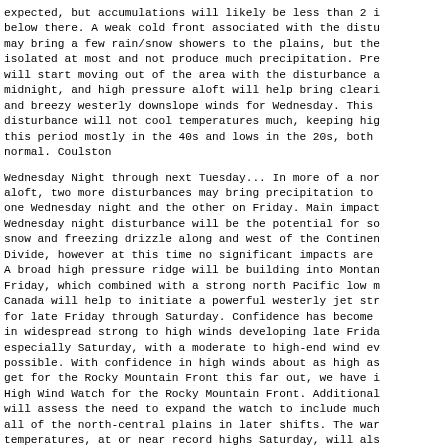expected, but accumulations will likely be less than 2 i below there. A weak cold front associated with the distu may bring a few rain/snow showers to the plains, but they isolated at most and not produce much precipitation. Pre will start moving out of the area with the disturbance a midnight, and high pressure aloft will help bring clearin and breezy westerly downslope winds for Wednesday. This disturbance will not cool temperatures much, keeping high this period mostly in the 40s and lows in the 20s, both a normal. Coulston
Wednesday Night through next Tuesday... In more of a nor aloft, two more disturbances may bring precipitation to  one Wednesday night and the other on Friday. Main impact Wednesday night disturbance will be the potential for so snow and freezing drizzle along and west of the Continent Divide, however at this time no significant impacts are e A broad high pressure ridge will be building into Montan Friday, which combined with a strong north Pacific low mo Canada will help to initiate a powerful westerly jet str for late Friday through Saturday. Confidence has become c in widespread strong to high winds developing late Frida especially Saturday, with a moderate to high-end wind eve possible. With confidence in high winds about as high as get for the Rocky Mountain Front this far out, we have is High Wind Watch for the Rocky Mountain Front. Additional will assess the need to expand the watch to include much all of the north-central plains in later shifts. The war temperatures, at or near record highs Saturday, will also decrease relative humidity and increase fire danger on th